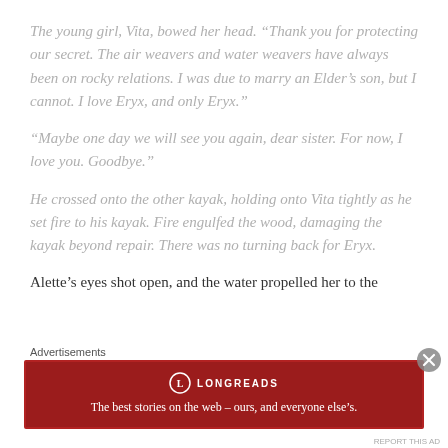The young girl, Vita, bowed her head. “Thank you for protecting our secret. The air weavers and water weavers have always been on rocky relations. I was due to marry an Elder’s son, but I cannot. I love Eryx, and only Eryx.”
“Maybe one day we will see you again, dear sister. For now, I love you. Goodbye.”
He crossed onto the other kayak, holding onto Vita tightly as he set fire to his kayak. Fire engulfed the wood, damaging the kayak beyond repair. There was no turning back for Eryx.
Alette’s eyes shot open, and the water propelled her to the
Advertisements
[Figure (other): Longreads advertisement banner with dark red background and text: The best stories on the web – ours, and everyone else’s.]